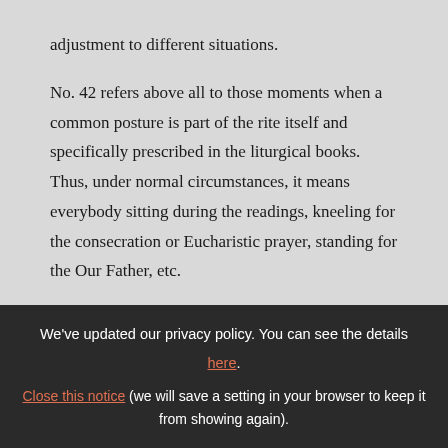adjustment to different situations.
No. 42 refers above all to those moments when a common posture is part of the rite itself and specifically prescribed in the liturgical books. Thus, under normal circumstances, it means everybody sitting during the readings, kneeling for the consecration or Eucharistic prayer, standing for the Our Father, etc.
By giving an option, No. 43 basically says that the rite does not require a common posture at
We've updated our privacy policy. You can see the details here. Close this notice (we will save a setting in your browser to keep it from showing again).